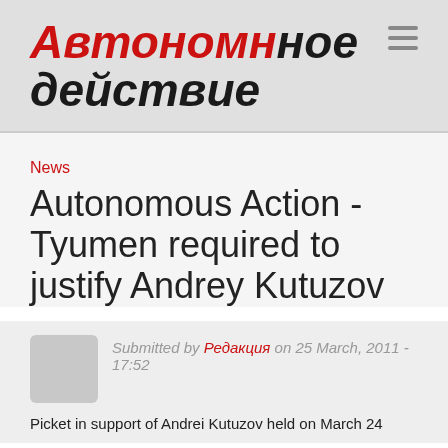Автономное действие
News
Autonomous Action - Tyumen required to justify Andrey Kutuzov
Submitted by Редакция on 25 March, 2011 - 17:52
Picket in support of Andrei Kutuzov held on March 24